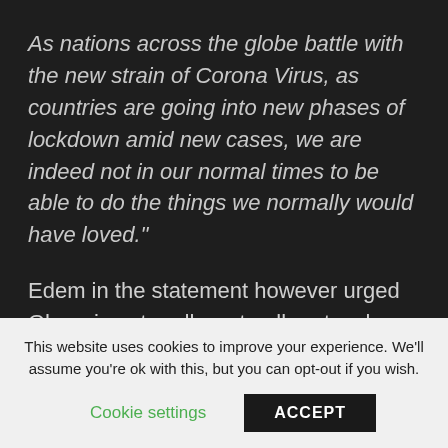As nations across the globe battle with the new strain of Corona Virus, as countries are going into new phases of lockdown amid new cases, we are indeed not in our normal times to be able to do the things we normally would have loved."
Edem in the statement however urged Ghanaians to adhere to all protocols outlined by the Government. The statement read, “Though Ghana has been hit relatively lower than other nations, we
This website uses cookies to improve your experience. We’ll assume you’re ok with this, but you can opt-out if you wish.
Cookie settings
ACCEPT